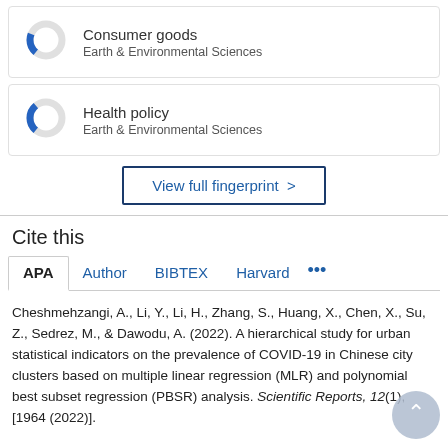[Figure (donut-chart): Small donut chart with blue segment, Consumer goods, Earth & Environmental Sciences]
Consumer goods
Earth & Environmental Sciences
[Figure (donut-chart): Small donut chart with blue segment, Health policy, Earth & Environmental Sciences]
Health policy
Earth & Environmental Sciences
View full fingerprint >
Cite this
APA  Author  BIBTEX  Harvard  ...
Cheshmehzangi, A., Li, Y., Li, H., Zhang, S., Huang, X., Chen, X., Su, Z., Sedrez, M., & Dawodu, A. (2022). A hierarchical study for urban statistical indicators on the prevalence of COVID-19 in Chinese city clusters based on multiple linear regression (MLR) and polynomial best subset regression (PBSR) analysis. Scientific Reports, 12(1), [1964 (2022)].